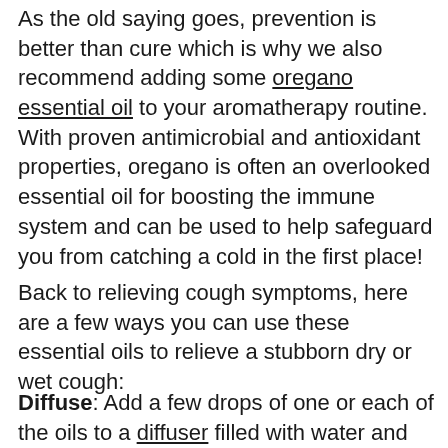As the old saying goes, prevention is better than cure which is why we also recommend adding some oregano essential oil to your aromatherapy routine. With proven antimicrobial and antioxidant properties, oregano is often an overlooked essential oil for boosting the immune system and can be used to help safeguard you from catching a cold in the first place!
Back to relieving cough symptoms, here are a few ways you can use these essential oils to relieve a stubborn dry or wet cough:
Diffuse: Add a few drops of one or each of the oils to a diffuser filled with water and let it run for 20-30 minutes to help clear your airways